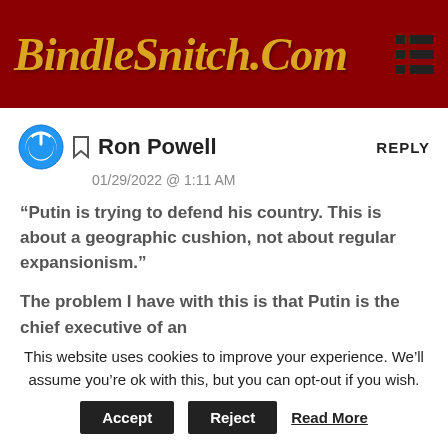BindleSnitch.Com
Ron Powell
01/29/2022 @ 1:11 AM
REPLY
“Putin is trying to defend his country. This is about a geographic cushion, not about regular expansionism.”
The problem I have with this is that Putin is the chief executive of an
This website uses cookies to improve your experience. We’ll assume you’re ok with this, but you can opt-out if you wish.
Accept  Reject  Read More